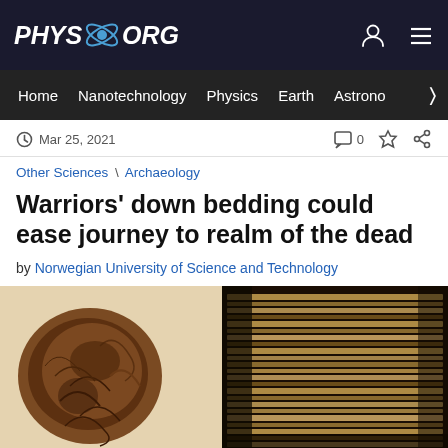PHYS.ORG
Home | Nanotechnology | Physics | Earth | Astronomy
Mar 25, 2021   0
Other Sciences \ Archaeology
Warriors' down bedding could ease journey to realm of the dead
by Norwegian University of Science and Technology
[Figure (photo): Two close-up photographs of ancient textile/organic material artifacts: left image shows a dark brownish degraded clump of fibrous material against a light background; right image shows layered fibrous strands of similar material]